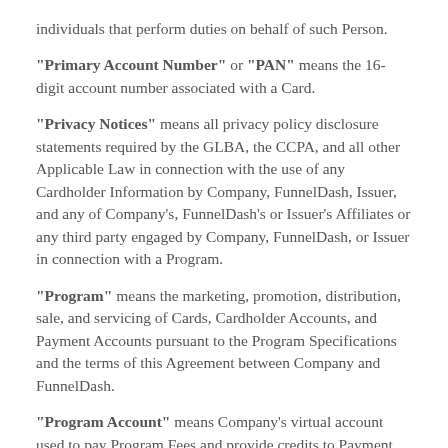individuals that perform duties on behalf of such Person.
"Primary Account Number" or "PAN" means the 16-digit account number associated with a Card.
"Privacy Notices" means all privacy policy disclosure statements required by the GLBA, the CCPA, and all other Applicable Law in connection with the use of any Cardholder Information by Company, FunnelDash, Issuer, and any of Company's, FunnelDash's or Issuer's Affiliates or any third party engaged by Company, FunnelDash, or Issuer in connection with a Program.
"Program" means the marketing, promotion, distribution, sale, and servicing of Cards, Cardholder Accounts, and Payment Accounts pursuant to the Program Specifications and the terms of this Agreement between Company and FunnelDash.
"Program Account" means Company's virtual account used to pay Program Fees and provide credits to Payment Accounts in connection with a Program promotion or Card rewards program.